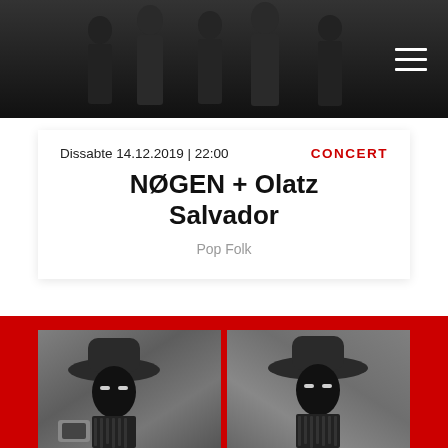[Figure (photo): Dark header image with silhouettes of people against a dark background, with a hamburger menu icon in the top right]
Dissabte 14.12.2019 | 22:00
CONCERT
NØGEN + Olatz Salvador
Pop Folk
[Figure (photo): Two side-by-side black and white photos of a masked performer wearing a wide-brimmed cowboy hat and fringed outfit, holding a device. Red background behind the photos.]